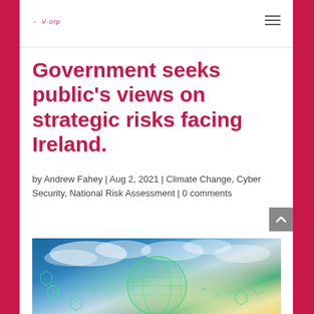navigation header with logo and hamburger menu
Government seeks public's views on strategic risks facing Ireland.
by Andrew Fahey | Aug 2, 2021 | Climate Change, Cyber Security, National Risk Assessment | 0 comments
[Figure (photo): Digital technology overlay on landscape background with green networked globe and hexagonal icons representing cybersecurity and climate risk themes]